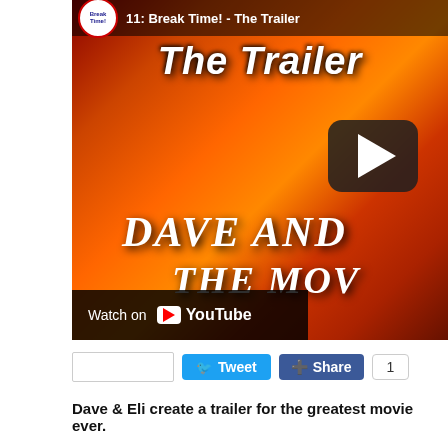[Figure (screenshot): YouTube video thumbnail for '11: Break Time! - The Trailer' showing two men against a fiery explosion background with text 'The Trailer' and 'DAVE AND THE MOV' overlaid. A YouTube play button is visible. Below the video is a 'Watch on YouTube' bar.]
[Figure (other): Social sharing buttons: empty Facebook-style box, Tweet button (blue), Share button (dark blue), and a count box showing '1']
Dave & Eli create a trailer for the greatest movie ever.